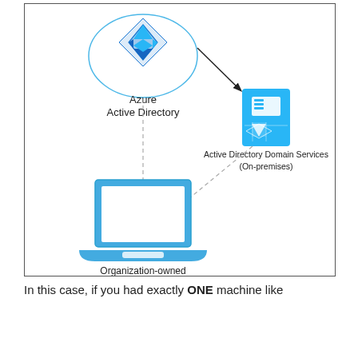[Figure (network-graph): Network diagram showing Azure Active Directory (cloud icon, top center-left) connected via solid arrow to Active Directory Domain Services On-premises (server icon, right), and connected via dashed line to Organization-owned Laptop (laptop icon, bottom center-left). The AD DS icon also has a dashed line from the laptop.]
In this case, if you had exactly ONE machine like